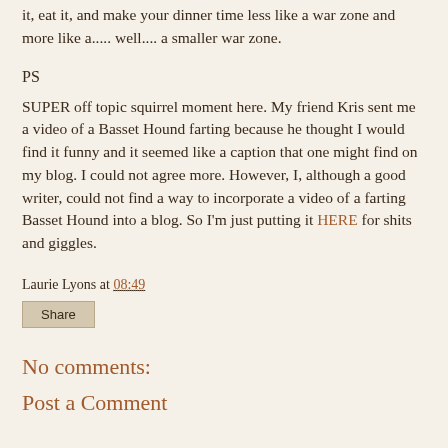it, eat it, and make your dinner time less like a war zone and more like a..... well.... a smaller war zone.
PS
SUPER off topic squirrel moment here. My friend Kris sent me a video of a Basset Hound farting because he thought I would find it funny and it seemed like a caption that one might find on my blog. I could not agree more. However, I, although a good writer, could not find a way to incorporate a video of a farting Basset Hound into a blog. So I'm just putting it HERE for shits and giggles.
Laurie Lyons at 08:49
Share
No comments:
Post a Comment